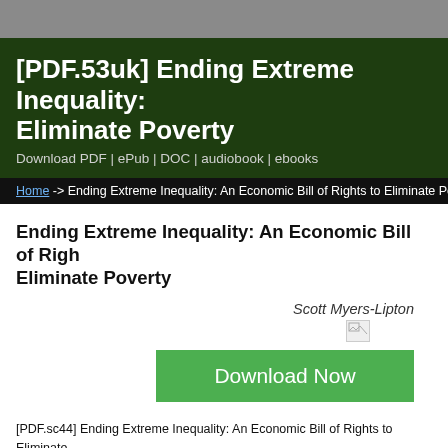[PDF.53uk] Ending Extreme Inequality: An Economic Bill of Rights to Eliminate Poverty
Download PDF | ePub | DOC | audiobook | ebooks
Home -> Ending Extreme Inequality: An Economic Bill of Rights to Eliminate Po
Ending Extreme Inequality: An Economic Bill of Rights to Eliminate Poverty
Scott Myers-Lipton
[Figure (illustration): Broken image placeholder icon]
Download Now
[PDF.sc44] Ending Extreme Inequality: An Economic Bill of Rights to Eliminate
Ending Extreme Inequality: An  Scott Myers-Lipton epub
Ending Extreme Inequality: An  Scott Myers-Lipton [...]